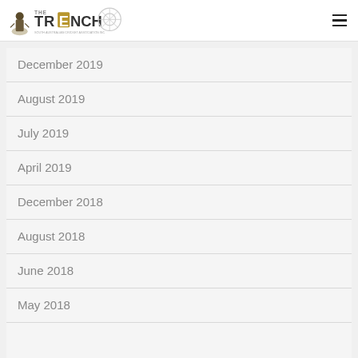THE TRENCH
December 2019
August 2019
July 2019
April 2019
December 2018
August 2018
June 2018
May 2018